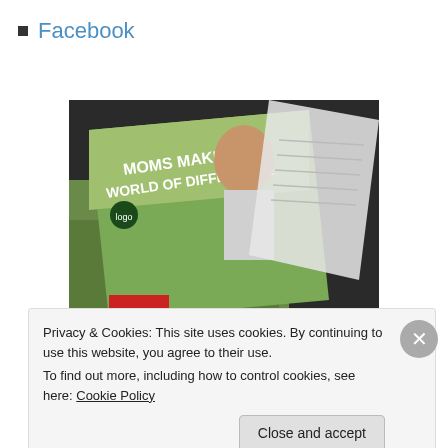Facebook
[Figure (photo): A photo of a brochure or flyer reading 'MOMS MAKE A WORLD OF DIFFERENCE' with an image of a smiling person in a field, and another document partially visible.]
Privacy & Cookies: This site uses cookies. By continuing to use this website, you agree to their use.
To find out more, including how to control cookies, see here: Cookie Policy
Close and accept